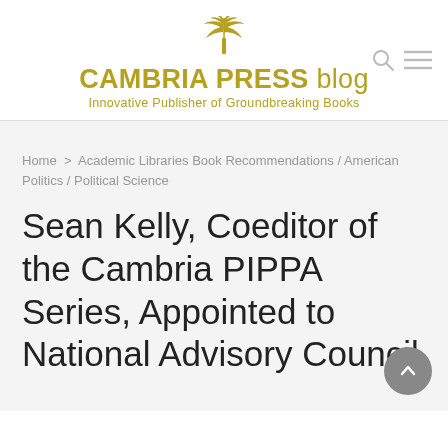[Figure (logo): Cambria Press palm tree logo icon in gold/olive color]
CAMBRIA PRESS blog
Innovative Publisher of Groundbreaking Books
Home > Academic Libraries Book Recommendations / American Politics / Political Science
Sean Kelly, Coeditor of the Cambria PIPPA Series, Appointed to National Advisory Council